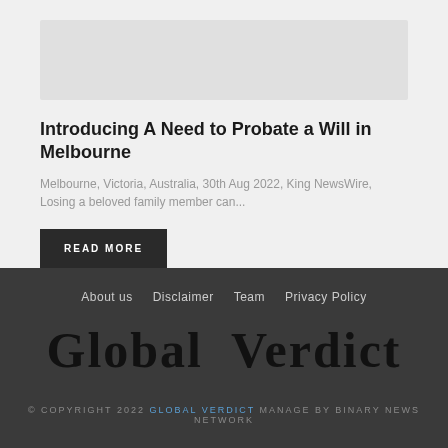[Figure (photo): Light gray image area at top of article card]
Introducing A Need to Probate a Will in Melbourne
Melbourne, Victoria, Australia, 30th Aug 2022, King NewsWire, Losing a beloved family member can...
READ MORE
About us  Disclaimer  Team  Privacy Policy
Global Verdict
© COPYRIGHT 2022 GLOBAL VERDICT MANAGE BY BINARY NEWS NETWORK